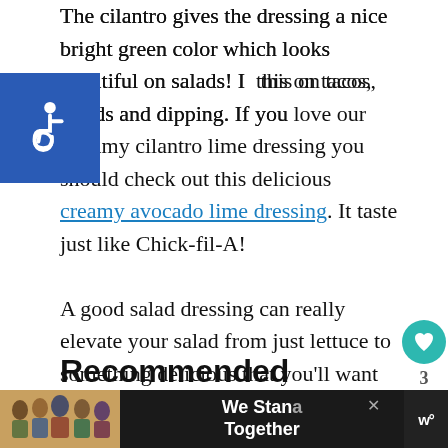The cilantro gives the dressing a nice bright green color which looks beautiful on salads! I use this on tacos, salads and dipping. If you love our Creamy cilantro lime dressing you should check out this delicious creamy avocado lime dressing. It taste just like Chick-fil-A!
A good salad dressing can really elevate your salad from just lettuce to something delicious that you'll want to eat every day.
[Figure (other): Accessibility icon (wheelchair symbol) in white on blue square background]
[Figure (other): Heart (favorite) button in teal circle, share count '3', share icon in circle]
[Figure (other): What's Next callout: circular image of Cilantro Lime Basmati Rice dish, label 'WHAT'S NEXT' with arrow, title 'Cilantro Lime Basmati Rice']
Recommended
[Figure (other): Bottom advertisement banner: group photo of people with text 'We Stand Together' on dark background, with logo 'w°']